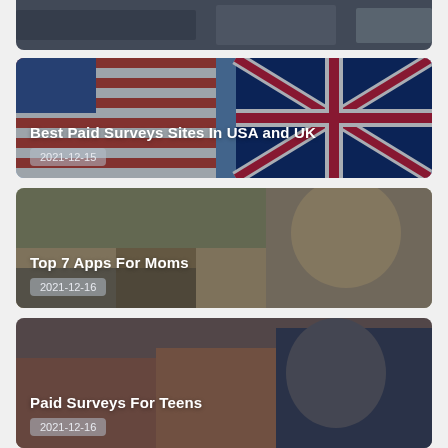[Figure (photo): Partial view of top card - people with phones, cropped]
[Figure (photo): USA and UK flags background image]
Best Paid Surveys Sites In USA and UK
2021-12-15
[Figure (photo): Mother and child background image]
Top 7 Apps For Moms
2021-12-16
[Figure (photo): Teenagers background image]
Paid Surveys For Teens
2021-12-16